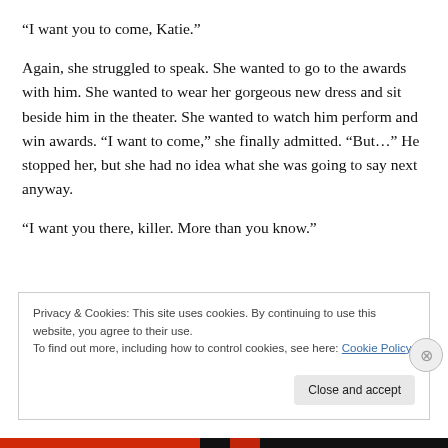“I want you to come, Katie.”
Again, she struggled to speak. She wanted to go to the awards with him. She wanted to wear her gorgeous new dress and sit beside him in the theater. She wanted to watch him perform and win awards. “I want to come,” she finally admitted. “But…” He stopped her, but she had no idea what she was going to say next anyway.
“I want you there, killer. More than you know.”
Privacy & Cookies: This site uses cookies. By continuing to use this website, you agree to their use.
To find out more, including how to control cookies, see here: Cookie Policy